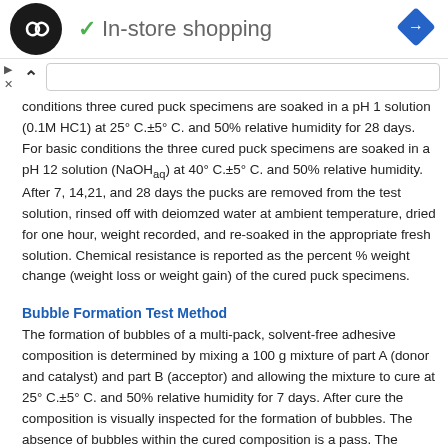[Figure (logo): Black circle logo with double infinity/arrow symbol]
In-store shopping
[Figure (other): Blue navigation diamond arrow icon]
conditions three cured puck specimens are soaked in a pH 1 solution (0.1M HC1) at 25° C.±5° C. and 50% relative humidity for 28 days. For basic conditions the three cured puck specimens are soaked in a pH 12 solution (NaOHaq) at 40° C.±5° C. and 50% relative humidity. After 7, 14,21, and 28 days the pucks are removed from the test solution, rinsed off with deiomzed water at ambient temperature, dried for one hour, weight recorded, and re-soaked in the appropriate fresh solution. Chemical resistance is reported as the percent % weight change (weight loss or weight gain) of the cured puck specimens.
Bubble Formation Test Method
The formation of bubbles of a multi-pack, solvent-free adhesive composition is determined by mixing a 100 g mixture of part A (donor and catalyst) and part B (acceptor) and allowing the mixture to cure at 25° C.±5° C. and 50% relative humidity for 7 days. After cure the composition is visually inspected for the formation of bubbles. The absence of bubbles within the cured composition is a pass. The appearance of bubbles within the cured composition constitutes a fail.